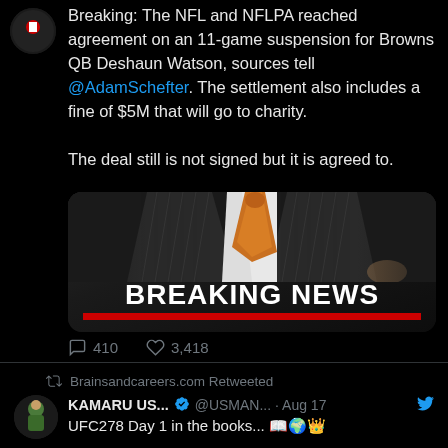Breaking: The NFL and NFLPA reached agreement on an 11-game suspension for Browns QB Deshaun Watson, sources tell @AdamSchefter. The settlement also includes a fine of $5M that will go to charity.

The deal still is not signed but it is agreed to.
[Figure (screenshot): Breaking News graphic showing a man in a pinstripe suit with an orange tie, with 'BREAKING NEWS' text and a red bar below]
410 comments  3,418 likes
Brainsandcareers.com Retweeted
KAMARU US... @USMAN... · Aug 17
UFC278 Day 1 in the books...